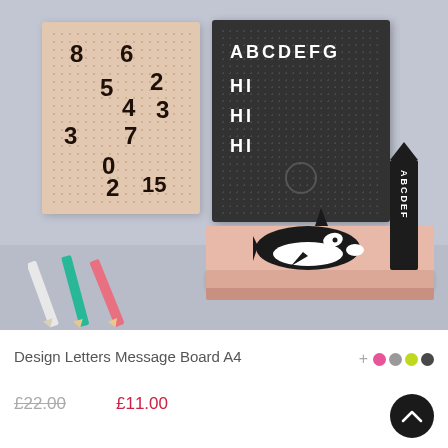[Figure (photo): Product photo of Design Letters Message Board A4. Shows two pegboard letter boards on a gray wall — one beige with numbers arranged randomly, one dark/charcoal with white letters spelling ABCDEFG / HI / HI / HI. On a pink shelf below sits an orca whale figurine and a black rectangular pencil/letter holder with ABCDEF written vertically. Three colored pencils (white, teal, pink) are visible at the lower left.]
Design Letters Message Board A4
£22.00  £11.00